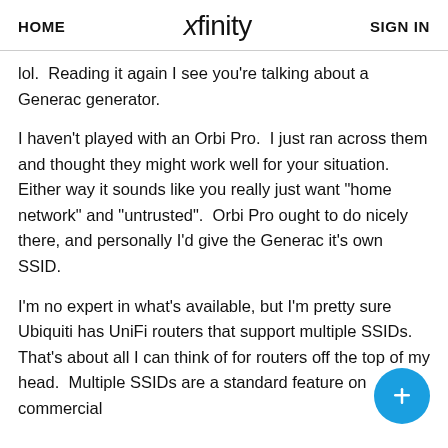HOME  xfinity  SIGN IN
lol.  Reading it again I see you're talking about a Generac generator.
I haven't played with an Orbi Pro.  I just ran across them and thought they might work well for your situation.  Either way it sounds like you really just want "home network" and "untrusted".  Orbi Pro ought to do nicely there, and personally I'd give the Generac it's own SSID.
I'm no expert in what's available, but I'm pretty sure Ubiquiti has UniFi routers that support multiple SSIDs.  That's about all I can think of for routers off the top of my head.  Multiple SSIDs are a standard feature on commercial